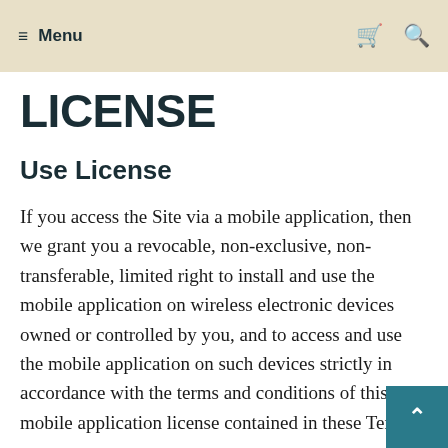≡ Menu  🛒  🔍
LICENSE
Use License
If you access the Site via a mobile application, then we grant you a revocable, non-exclusive, non-transferable, limited right to install and use the mobile application on wireless electronic devices owned or controlled by you, and to access and use the mobile application on such devices strictly in accordance with the terms and conditions of this mobile application license contained in these Terms